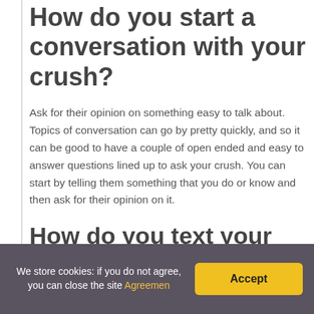How do you start a conversation with your crush?
Ask for their opinion on something easy to talk about. Topics of conversation can go by pretty quickly, and so it can be good to have a couple of open ended and easy to answer questions lined up to ask your crush. You can start by telling them something that you do or know and then ask for their opinion on it.
How do you text your crush?
5 Facts To Send Your Crush When You Don't Know ...
We store cookies: if you do not agree, you can close the site Agreemen